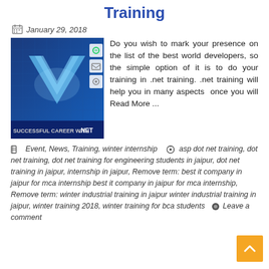Training
January 29, 2018
[Figure (photo): Blue banner image showing a V-shape logo with text 'SUCCESSFUL CAREER WITH .NET' at the bottom]
Do you wish to mark your presence on the list of the best world developers, so the simple option of it is to do your training in .net training. .net training will help you in many aspects  once you will Read More ...
Event, News, Training, winter internship   asp dot net training, dot net training, dot net training for engineering students in jaipur, dot net training in jaipur, internship in jaipur, Remove term: best it company in jaipur for mca internship best it company in jaipur for mca internship, Remove term: winter industrial training in jaipur winter industrial training in jaipur, winter training 2018, winter training for bca students   Leave a comment